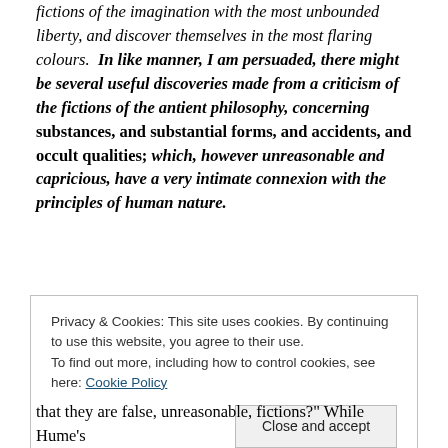fictions of the imagination with the most unbounded liberty, and discover themselves in the most flaring colours. In like manner, I am persuaded, there might be several useful discoveries made from a criticism of the fictions of the antient philosophy, concerning substances, and substantial forms, and accidents, and occult qualities; which, however unreasonable and capricious, have a very intimate connexion with the principles of human nature.
Privacy & Cookies: This site uses cookies. By continuing to use this website, you agree to their use. To find out more, including how to control cookies, see here: Cookie Policy
that they are false, unreasonable, fictions?" While Hume's